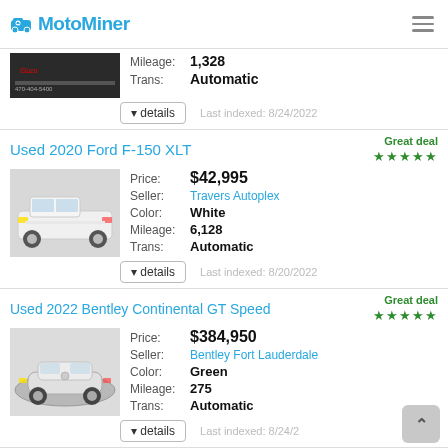MotoMiner
Mileage: 1,328
Trans: Automatic
Last indexed: 8/24/2022
Used 2020 Ford F-150 XLT
Great deal ★★★★★
[Figure (photo): White Ford F-150 XLT truck]
Price: $42,995
Seller: Travers Autoplex
Color: White
Mileage: 6,128
Trans: Automatic
Last indexed: 8/20/2022
Used 2022 Bentley Continental GT Speed
Great deal ★★★★★
[Figure (photo): Silver Bentley Continental GT Speed car]
Price: $384,950
Seller: Bentley Fort Lauderdale
Color: Green
Mileage: 275
Trans: Automatic
Last indexed: 8/24/2
Certified 2021 Rolls Royce Ghost Base
Great deal